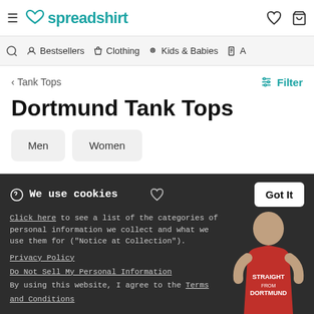spreadshirt — navigation header with hamburger menu, logo, wishlist and cart icons
Bestsellers | Clothing | Kids & Babies | A...
< Tank Tops
Filter
Dortmund Tank Tops
Men
Women
We use cookies
Click here to see a list of the categories of personal information we collect and what we use them for ("Notice at Collection").
Privacy Policy
Do Not Sell My Personal Information
By using this website, I agree to the Terms and Conditions
Got It